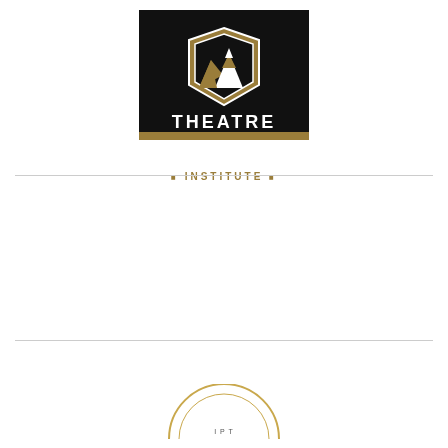[Figure (logo): Theatre Institute logo: black rectangular background with a shield/crest emblem featuring mountain and tent imagery in white and gold, with the word THEATRE in white bold letters below the emblem, and INSTITUTE in gold spaced letters with small square decorators below]
[Figure (logo): Partial view of a second circular logo at the bottom of the page, gold/tan colored arc visible]